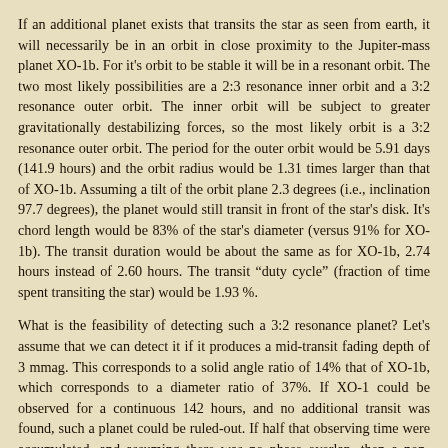If an additional planet exists that transits the star as seen from earth, it will necessarily be in an orbit in close proximity to the Jupiter-mass planet XO-1b. For it's orbit to be stable it will be in a resonant orbit. The two most likely possibilities are a 2:3 resonance inner orbit and a 3:2 resonance outer orbit. The inner orbit will be subject to greater gravitationally destabilizing forces, so the most likely orbit is a 3:2 resonance outer orbit. The period for the outer orbit would be 5.91 days (141.9 hours) and the orbit radius would be 1.31 times larger than that of XO-1b. Assuming a tilt of the orbit plane 2.3 degrees (i.e., inclination 97.7 degrees), the planet would still transit in front of the star's disk. It's chord length would be 83% of the star's diameter (versus 91% for XO-1b). The transit duration would be about the same as for XO-1b, 2.74 hours instead of 2.60 hours. The transit "duty cycle" (fraction of time spent transiting the star) would be 1.93 %.
What is the feasibility of detecting such a 3:2 resonance planet? Let's assume that we can detect it if it produces a mid-transit fading depth of 3 mmag. This corresponds to a solid angle ratio of 14% that of XO-1b, which corresponds to a diameter ratio of 37%. If XO-1 could be observed for a continuous 142 hours, and no additional transit was found, such a planet could be ruled-out. If half that observing time were accumulated, and assuming there was no phase overlap, then a non-detection would constitute a 50%